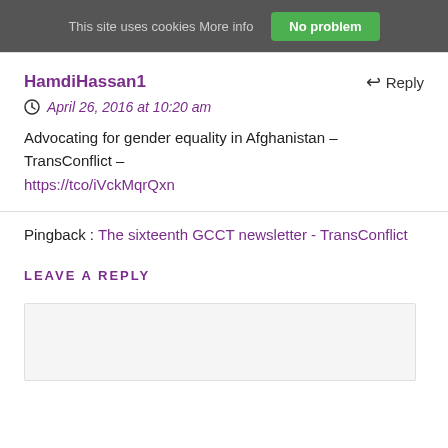This site uses cookies More info  No problem
HamdiHassan1
Reply
April 26, 2016 at 10:20 am
Advocating for gender equality in Afghanistan – TransConflict – https://tco/iVckMqrQxn
Pingback : The sixteenth GCCT newsletter - TransConflict
LEAVE A REPLY